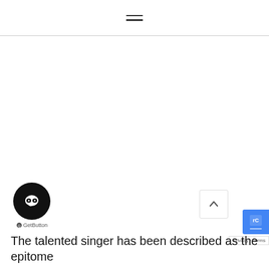≡
[Figure (other): Large blank white content area (image/video not loaded)]
[Figure (other): GetButton chat widget: black circle with speech bubble icon, and 'GetButton' label below]
[Figure (other): Scroll-up arrow button (chevron up) at bottom right area]
[Figure (other): reCAPTCHA blue badge at far right edge]
Privacy · Terms
The talented singer has been described as the epitome